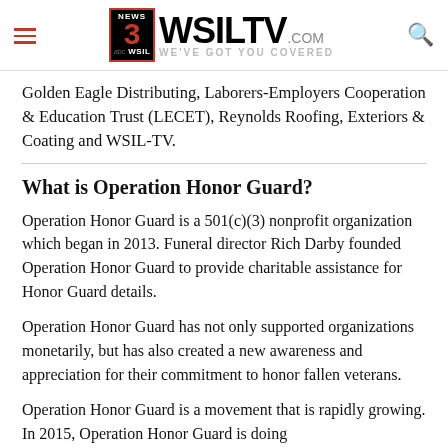WSILTV.COM - WE'VE GOT YOU COVERED
Golden Eagle Distributing, Laborers-Employers Cooperation & Education Trust (LECET), Reynolds Roofing, Exteriors & Coating and WSIL-TV.
What is Operation Honor Guard?
Operation Honor Guard is a 501(c)(3) nonprofit organization which began in 2013. Funeral director Rich Darby founded Operation Honor Guard to provide charitable assistance for Honor Guard details.
Operation Honor Guard has not only supported organizations monetarily, but has also created a new awareness and appreciation for their commitment to honor fallen veterans.
Operation Honor Guard is a movement that is rapidly growing. In 2015, Operation Honor Guard is doing...